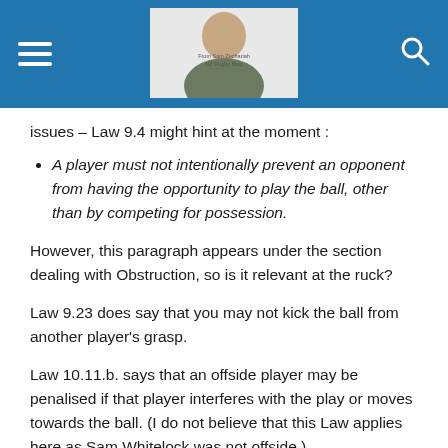[Header bar with hamburger menu, site logo/photo, and search icon]
issues – Law 9.4 might hint at the moment :
A player must not intentionally prevent an opponent from having the opportunity to play the ball, other than by competing for possession.
However, this paragraph appears under the section dealing with Obstruction, so is it relevant at the ruck?
Law 9.23 does say that you may not kick the ball from another player's grasp.
Law 10.11.b. says that an offside player may be penalised if that player interferes with the play or moves towards the ball. (I do not believe that this Law applies here as Sam Whitelock was not offside.)